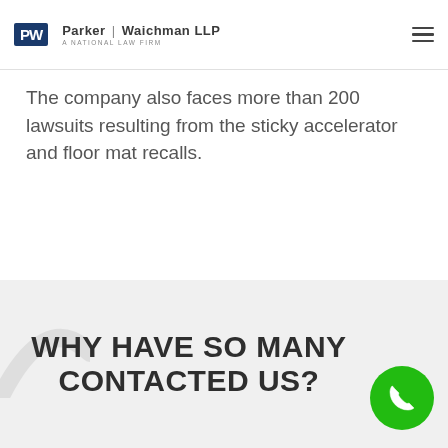Parker | Waichman LLP — A National Law Firm
The company also faces more than 200 lawsuits resulting from the sticky accelerator and floor mat recalls.
WHY HAVE SO MANY CONTACTED US?